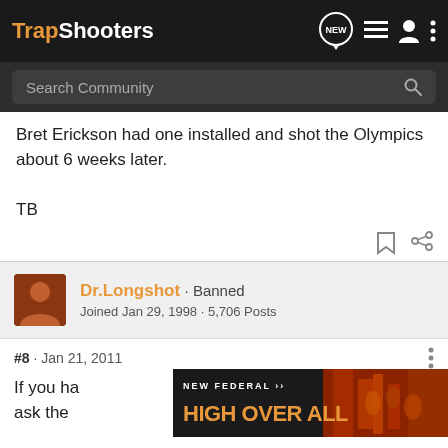TrapShooters
Bret Erickson had one installed and shot the Olympics about 6 weeks later.

TB
Dr.Longshot · Banned
Joined Jan 29, 1998 · 5,706 Posts
#8 · Jan 21, 2011
If you ha... just ask the...